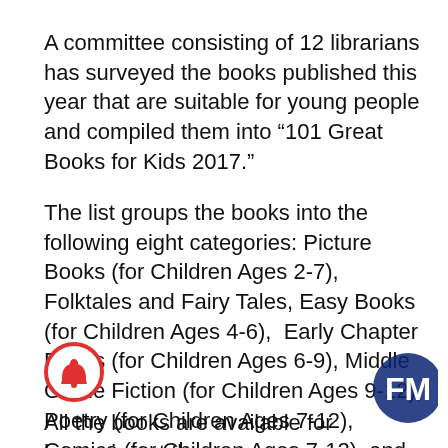A committee consisting of 12 librarians has surveyed the books published this year that are suitable for young people and compiled them into “101 Great Books for Kids 2017.”
The list groups the books into the following eight categories: Picture Books (for Children Ages 2-7), Folktales and Fairy Tales, Easy Books (for Children Ages 4-6), Early Chapter Books (for Children Ages 6-9), Middle Grade Fiction (for Children Ages 9-12), Poetry (for Children Ages 7-12), Comics (for Children Ages 7-12), and Nonfiction (for All Ages).
All the books are available for borrowing at the